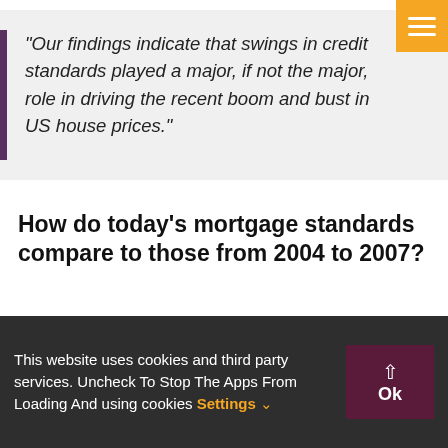“Our findings indicate that swings in credit standards played a major, if not the major, role in driving the recent boom and bust in US house prices.”
How do today’s mortgage standards compare to those from 2004 to 2007?
The Mortgage Bankers’ Association tracts mortgage standards in their Mortgage Credit Availability Index (MCAI). A decline in the MCAI indicates that lending standards are tightening,
This website uses cookies and third party services. Uncheck To Stop The Apps From Loading And using cookies Settings ∨